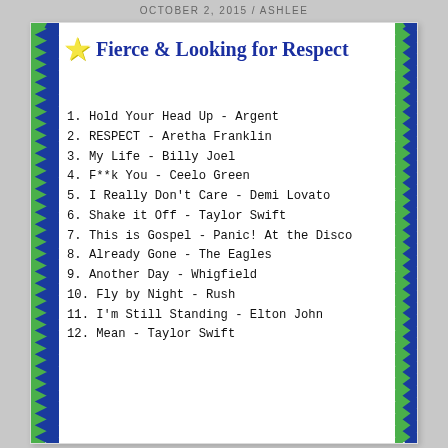OCTOBER 2, 2015 / ASHLEE
★ Fierce & Looking for Respect
1. Hold Your Head Up - Argent
2. RESPECT - Aretha Franklin
3. My Life - Billy Joel
4. F**k You - Ceelo Green
5. I Really Don't Care - Demi Lovato
6. Shake it Off - Taylor Swift
7. This is Gospel - Panic! At the Disco
8. Already Gone - The Eagles
9. Another Day - Whigfield
10. Fly by Night - Rush
11. I'm Still Standing - Elton John
12. Mean - Taylor Swift